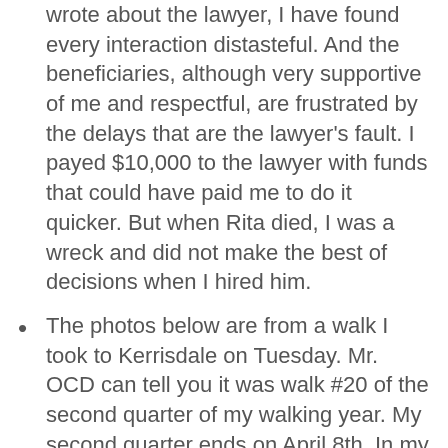wrote about the lawyer, I have found every interaction distasteful. And the beneficiaries, although very supportive of me and respectful, are frustrated by the delays that are the lawyer's fault. I payed $10,000 to the lawyer with funds that could have paid me to do it quicker. But when Rita died, I was a wreck and did not make the best of decisions when I hired him.
The photos below are from a walk I took to Kerrisdale on Tuesday. Mr. OCD can tell you it was walk #20 of the second quarter of my walking year. My second quarter ends on April 8th. In my first quarter, I did 43 designated walks between two-and-a-half and four hours long, so soon I will know how many walks I usually do in six months. If I do seventy, or about 140 per year, I would estimate my designated walks total about 1,800 kilometres a year.
I have submitted a script to The Arts Club Theatre hoping to earn a workshop on their play reading program. It would mean so much as calling my...